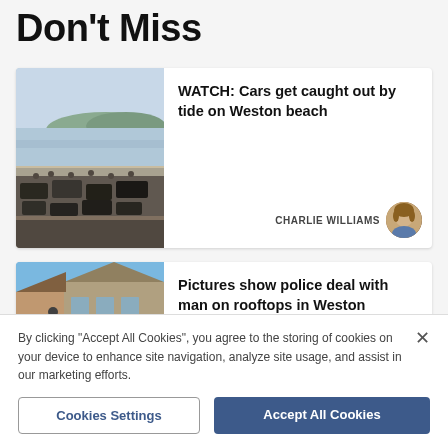Don't Miss
[Figure (photo): News article card: beach scene with cars on sand and crowds of people, plus headline WATCH: Cars get caught out by tide on Weston beach, by CHARLIE WILLIAMS]
[Figure (photo): News article card: rooftops and buildings in Weston under blue sky, with red awning visible, plus headline Pictures show police deal with man on rooftops in Weston]
By clicking "Accept All Cookies", you agree to the storing of cookies on your device to enhance site navigation, analyze site usage, and assist in our marketing efforts.
Cookies Settings
Accept All Cookies